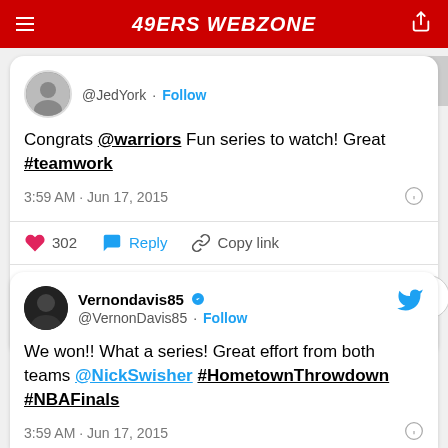49ERS WEBZONE
@JedYork · Follow
Congrats @warriors Fun series to watch! Great #teamwork
3:59 AM · Jun 17, 2015
302 Reply Copy link
Read 60 replies
Vernondavis85 @VernonDavis85 · Follow
We won!! What a series! Great effort from both teams @NickSwisher #HometownThrowdown #NBAFinals
3:59 AM · Jun 17, 2015